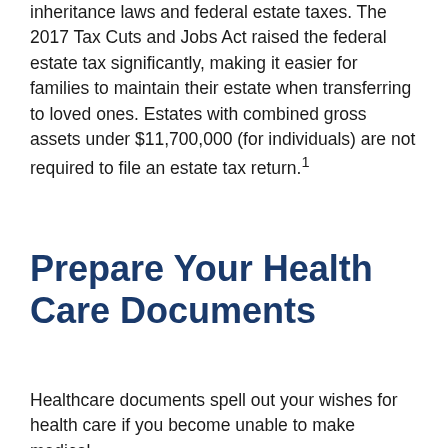inheritance laws and federal estate taxes. The 2017 Tax Cuts and Jobs Act raised the federal estate tax significantly, making it easier for families to maintain their estate when transferring to loved ones. Estates with combined gross assets under $11,700,000 (for individuals) are not required to file an estate tax return.¹
Prepare Your Health Care Documents
Healthcare documents spell out your wishes for health care if you become unable to make medical